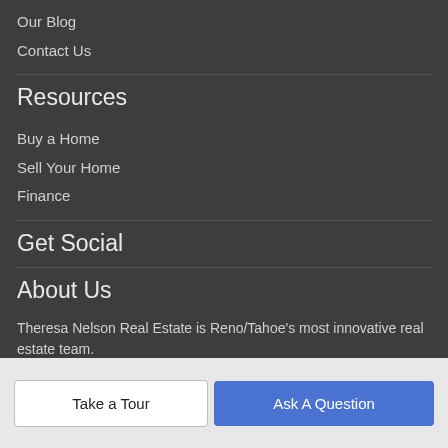Our Blog
Contact Us
Resources
Buy a Home
Sell Your Home
Finance
Get Social
About Us
Theresa Nelson Real Estate is Reno/Tahoe's most innovative real estate team.
Theresa Nelson Real Estate | REMAX Professionals
5905 S Virginia Street
Reno, NV 89502
Take a Tour
Ask A Question